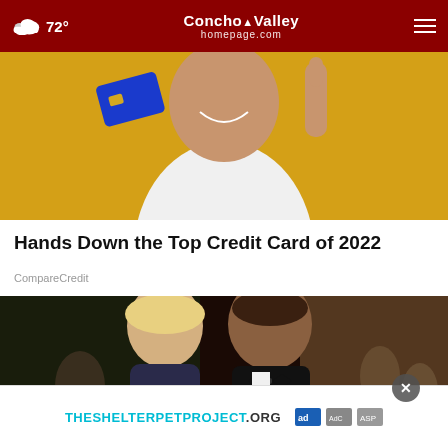72° Concho Valley homepage.com
[Figure (photo): Person holding a blue credit card up with one hand and pointing with index finger of other hand, yellow background]
Hands Down the Top Credit Card of 2022
CompareCredit
[Figure (photo): Couple dressed formally (woman in blonde hair, man in tuxedo) at what appears to be a gala or formal event]
[Figure (other): Ad banner: THESHELTERPETPROJECT.ORG with Ad Council logos]